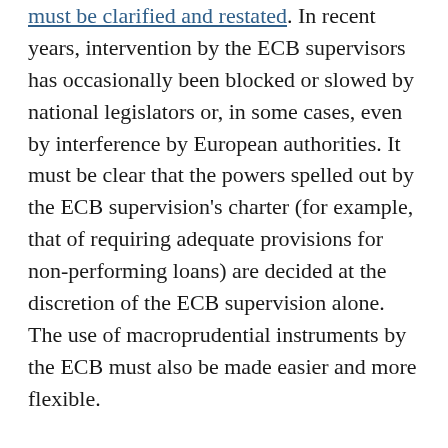must be clarified and restated. In recent years, intervention by the ECB supervisors has occasionally been blocked or slowed by national legislators or, in some cases, even by interference by European authorities. It must be clear that the powers spelled out by the ECB supervision's charter (for example, that of requiring adequate provisions for non-performing loans) are decided at the discretion of the ECB supervision alone. The use of macroprudential instruments by the ECB must also be made easier and more flexible.
Third, a bespoke regime must be introduced to facilitate the development of pan-continental banks, while controlling for the systemic risk they may involve. The regulatory barriers currently making intra-group cross-border operations within the banking union costly and risky must be